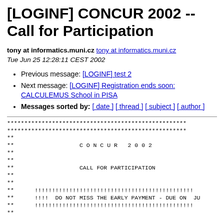[LOGINF] CONCUR 2002 -- Call for Participation
tony at informatics.muni.cz tony at informatics.muni.cz
Tue Jun 25 12:28:11 CEST 2002
Previous message: [LOGINF] test 2
Next message: [LOGINF] Registration ends soon: CALCULEMUS School in PISA
Messages sorted by: [ date ] [ thread ] [ subject ] [ author ]
** CONCUR 2002
**
** CALL FOR PARTICIPATION
**
** !!!!!!!!!!!!!!!!!!!!!!!!!!!!!!!!!!!!!!!!!!!!!!
** !!!!  DO NOT MISS THE EARLY PAYMENT - DUE ON  JU
** !!!!!!!!!!!!!!!!!!!!!!!!!!!!!!!!!!!!!!!!!!!!!!!
**